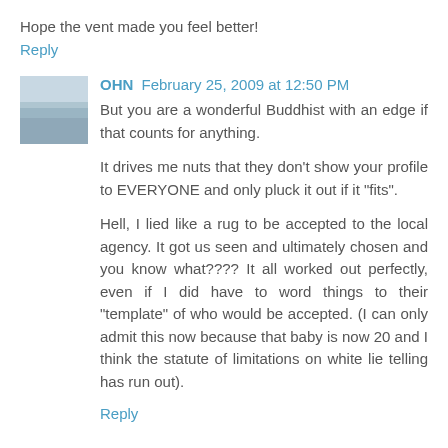Hope the vent made you feel better!
Reply
OHN  February 25, 2009 at 12:50 PM
But you are a wonderful Buddhist with an edge if that counts for anything.
It drives me nuts that they don't show your profile to EVERYONE and only pluck it out if it "fits".
Hell, I lied like a rug to be accepted to the local agency. It got us seen and ultimately chosen and you know what???? It all worked out perfectly, even if I did have to word things to their "template" of who would be accepted. (I can only admit this now because that baby is now 20 and I think the statute of limitations on white lie telling has run out).
Reply